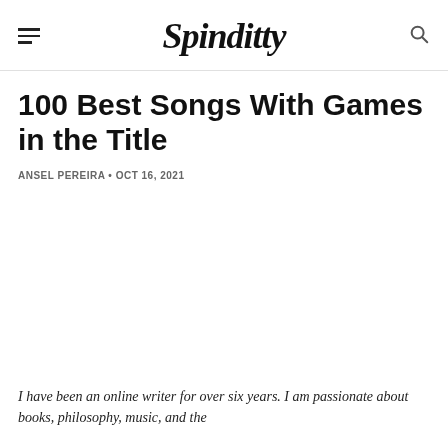Spinditty
100 Best Songs With Games in the Title
ANSEL PEREIRA • OCT 16, 2021
I have been an online writer for over six years. I am passionate about books, philosophy, music, and the